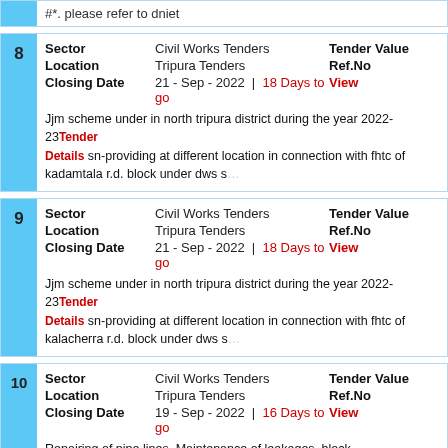#*. please refer to dniet
| # | Field | Value | Right |
| --- | --- | --- | --- |
| 8 | Sector | Civil Works Tenders | Tender Value |
|  | Location | Tripura Tenders | Ref.No |
|  | Closing Date | 21 - Sep - 2022 | 18 Days to go | View |
|  | Description | Jjm scheme under in north tripura district during the year 2022-23, sn-providing at different location in connection with fhtc of kadamtala r.d. block under dws s... | Tender Details |
| # | Field | Value | Right |
| --- | --- | --- | --- |
| 9 | Sector | Civil Works Tenders | Tender Value |
|  | Location | Tripura Tenders | Ref.No |
|  | Closing Date | 21 - Sep - 2022 | 18 Days to go | View |
|  | Description | Jjm scheme under in north tripura district during the year 2022-23, sn-providing at different location in connection with fhtc of kalacherra r.d. block under dws s... | Tender Details |
| # | Field | Value | Right |
| --- | --- | --- | --- |
| 10 | Sector | Civil Works Tenders | Tender Value |
|  | Location | Tripura Tenders | Ref.No |
|  | Closing Date | 19 - Sep - 2022 | 16 Days to go | View |
|  | Description | Repairing of pipe lines, Maintenance of leakages, block washing, providing and other allied works under dws sub-division no.iii, kunjaban, agartala within the b... | Tender Details |